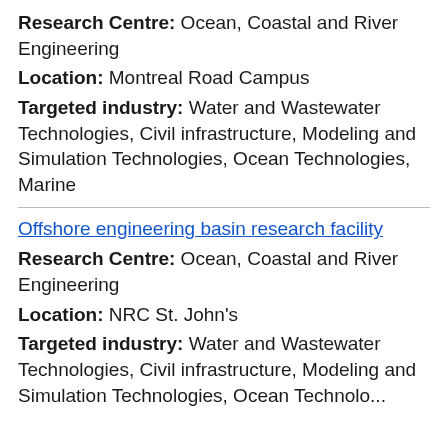Research Centre: Ocean, Coastal and River Engineering
Location: Montreal Road Campus
Targeted industry: Water and Wastewater Technologies, Civil infrastructure, Modeling and Simulation Technologies, Ocean Technologies, Marine
Offshore engineering basin research facility
Research Centre: Ocean, Coastal and River Engineering
Location: NRC St. John's
Targeted industry: Water and Wastewater Technologies, Civil infrastructure, Modeling and Simulation Technologies, Ocean Technolo...